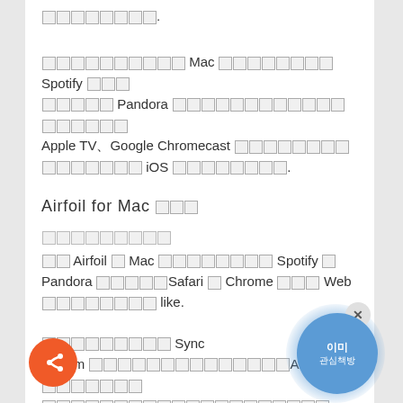[unknown chars]. [paragraph] [unknown chars] Mac [unknown chars] Spotify [unknown chars] [unknown chars] Pandora [unknown chars] Apple TV、Google Chromecast [unknown chars] [unknown chars] iOS [unknown chars].
Airfoil for Mac [unknown chars]
[unknown chars]
[unknown chars] Airfoil [unknown] Mac [unknown chars] Spotify [unknown] Pandora [unknown chars]Safari [unknown] Chrome [unknown] Web [unknown chars] like.
[unknown chars] Sync
Stream [unknown chars]AirPlay[unknown chars]
[unknown chars].